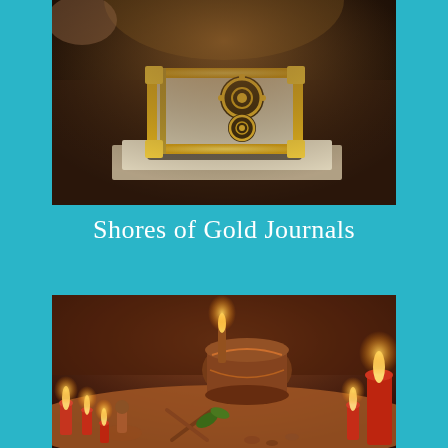[Figure (photo): Game screenshot showing a glowing golden book with circular emblems on its cover, resting on top of other books or papers in a dark, warm-lit interior environment.]
Shores of Gold Journals
[Figure (photo): Game screenshot showing a scene with red candles lit around various artifacts and figurines on a surface, in a warm orange-lit dungeon or cave environment.]